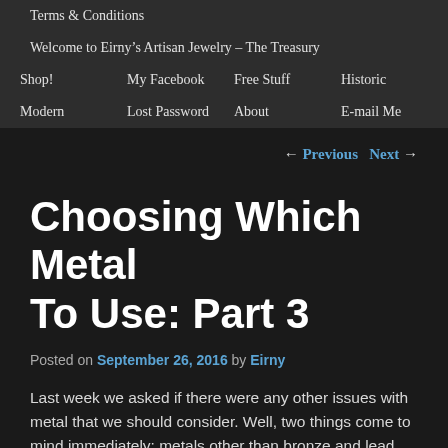Terms & Conditions
Welcome to Eirny’s Artisan Jewelry – The Treasury
Shop!    My Facebook    Free Stuff    Historic
Modern    Lost Password    About    E-mail Me
← Previous    Next →
Choosing Which Metal To Use: Part 3
Posted on September 26, 2016 by Eirny
Last week we asked if there were any other issues with metal that we should consider. Well, two things come to mind immediately: metals other than bronze and lead, and